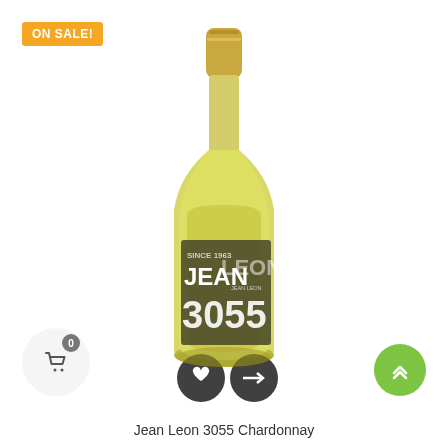[Figure (photo): Wine bottle - Jean Leon 3055 Chardonnay with golden cap and label showing JEAN LEON 3055 SINCE 1963, with two circular overlay buttons (heart and arrow icons) at the bottom of the bottle]
ON SALE!
Jean Leon 3055 Chardonnay